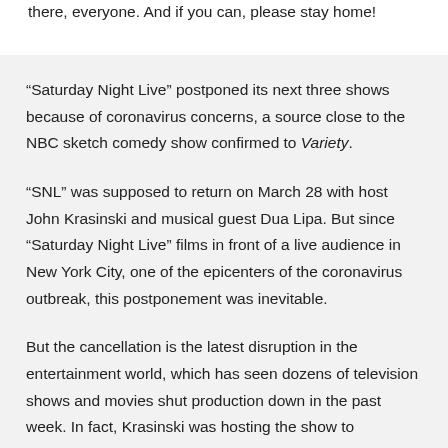there, everyone. And if you can, please stay home!
“Saturday Night Live” postponed its next three shows because of coronavirus concerns, a source close to the NBC sketch comedy show confirmed to Variety.
“SNL” was supposed to return on March 28 with host John Krasinski and musical guest Dua Lipa. But since “Saturday Night Live” films in front of a live audience in New York City, one of the epicenters of the coronavirus outbreak, this postponement was inevitable.
But the cancellation is the latest disruption in the entertainment world, which has seen dozens of television shows and movies shut production down in the past week. In fact, Krasinski was hosting the show to